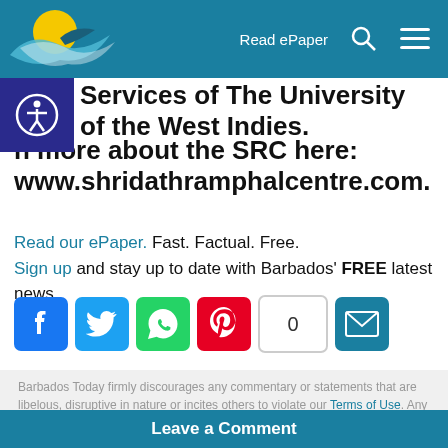Read ePaper
Services of The University of the West Indies. Learn more about the SRC here: www.shridathramphalcentre.com.
Read our ePaper. Fast. Factual. Free. Sign up and stay up to date with Barbados' FREE latest news.
[Figure (infographic): Social share buttons: Facebook, Twitter, WhatsApp, Pinterest, share count (0), Email]
Barbados Today firmly discourages any commentary or statements that are libelous, disruptive in nature or incites others to violate our Terms of Use. Any submissions made on our comment section, are solely the views of the individual and not Barbados Today.
Leave a Comment